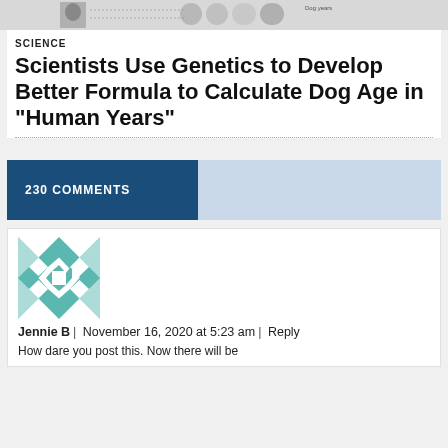[Figure (photo): Top banner image strip showing dogs and dog age comparison photos]
SCIENCE
Scientists Use Genetics to Develop Better Formula to Calculate Dog Age in “Human Years”
230 COMMENTS
[Figure (illustration): Teal and white geometric quilt-pattern avatar for commenter Jennie B]
Jennie B | November 16, 2020 at 5:23 am | Reply
How dare you post this. Now there will be